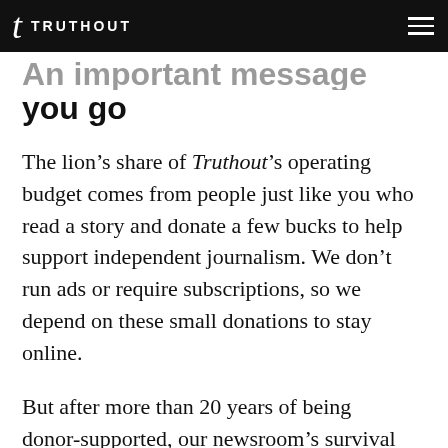TRUTHOUT
An important message before you go
The lion's share of Truthout's operating budget comes from people just like you who read a story and donate a few bucks to help support independent journalism. We don't run ads or require subscriptions, so we depend on these small donations to stay online.
But after more than 20 years of being donor-supported, our newsroom's survival